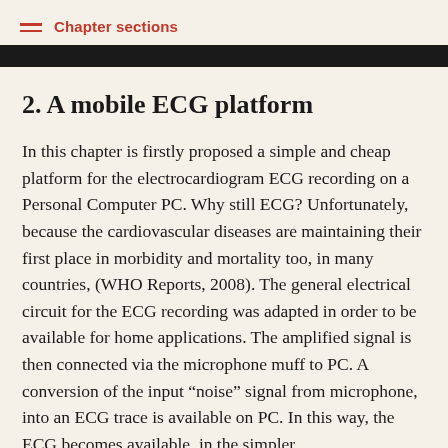Chapter sections
2. A mobile ECG platform
In this chapter is firstly proposed a simple and cheap platform for the electrocardiogram ECG recording on a Personal Computer PC. Why still ECG? Unfortunately, because the cardiovascular diseases are maintaining their first place in morbidity and mortality too, in many countries, (WHO Reports, 2008). The general electrical circuit for the ECG recording was adapted in order to be available for home applications. The amplified signal is then connected via the microphone muff to PC. A conversion of the input “noise” signal from microphone, into an ECG trace is available on PC. In this way, the ECG becomes available, in the simpler